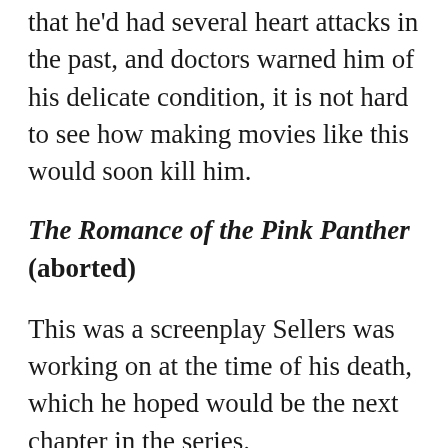that he'd had several heart attacks in the past, and doctors warned him of his delicate condition, it is not hard to see how making movies like this would soon kill him.
The Romance of the Pink Panther (aborted)
This was a screenplay Sellers was working on at the time of his death, which he hoped would be the next chapter in the series.
[Figure (illustration): Pink Panther cartoon character illustration with caption text 'The newest and funniest Panther of them all']